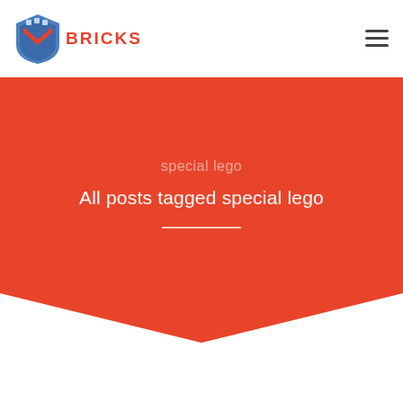[Figure (logo): IDEO Bricks logo with shield icon in blue and red, and red 'BRICKS' text]
special lego
All posts tagged special lego